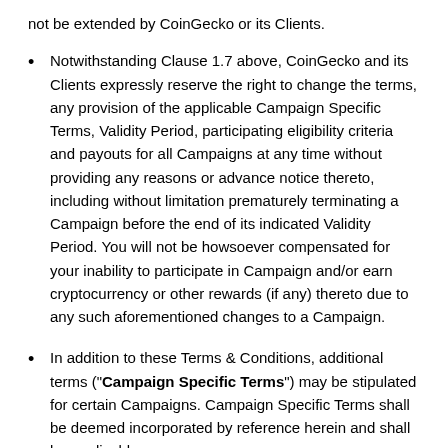not be extended by CoinGecko or its Clients.
Notwithstanding Clause 1.7 above, CoinGecko and its Clients expressly reserve the right to change the terms, any provision of the applicable Campaign Specific Terms, Validity Period, participating eligibility criteria and payouts for all Campaigns at any time without providing any reasons or advance notice thereto, including without limitation prematurely terminating a Campaign before the end of its indicated Validity Period. You will not be howsoever compensated for your inability to participate in Campaign and/or earn cryptocurrency or other rewards (if any) thereto due to any such aforementioned changes to a Campaign.
In addition to these Terms & Conditions, additional terms ("Campaign Specific Terms") may be stipulated for certain Campaigns. Campaign Specific Terms shall be deemed incorporated by reference herein and shall be applicable as